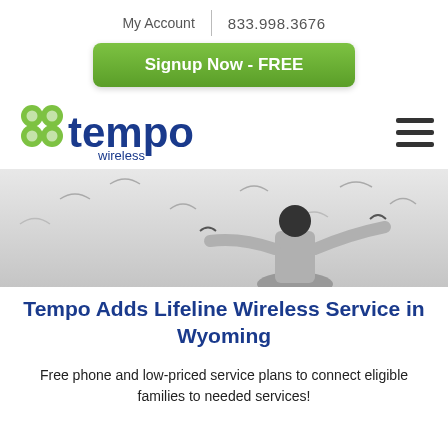My Account | 833.998.3676
Signup Now - FREE
[Figure (logo): Tempo Wireless - a Lingo company logo with green clover icon and blue 'tempo wireless' text]
[Figure (photo): Black and white photo of a person with arms outstretched with birds flying around]
Tempo Adds Lifeline Wireless Service in Wyoming
Free phone and low-priced service plans to connect eligible families to needed services!